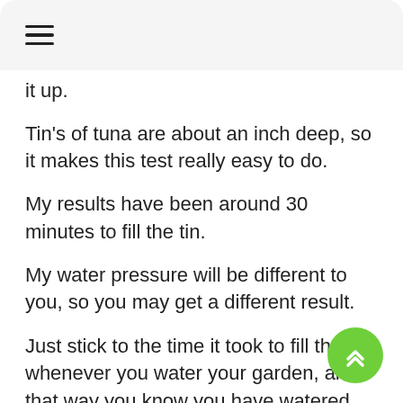≡
it up.
Tin's of tuna are about an inch deep, so it makes this test really easy to do.
My results have been around 30 minutes to fill the tin.
My water pressure will be different to you, so you may get a different result.
Just stick to the time it took to fill the tin whenever you water your garden, and that way you know you have watered the lawn sufficiently, easy!
Did This Post Help?